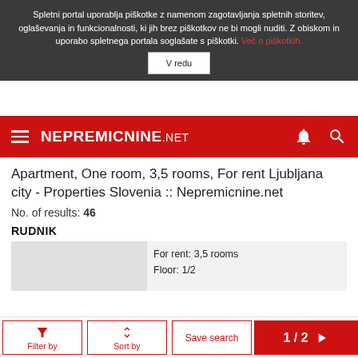Spletni portal uporablja piškotke z namenom zagotavljanja spletnih storitev, oglaševanja in funkcionalnosti, ki jih brez piškotkov ne bi mogli nuditi. Z obiskom in uporabo spletnega portala soglašate s piškotki. Več o piškotkih.
V redu
[Figure (screenshot): Nepremicnine.net red navigation bar with hamburger menu icon on left, site logo NEPREMICNINE.NET in white, and bell and search icons on right]
Apartment, One room, 3,5 rooms, For rent Ljubljana city - Properties Slovenia :: Nepremicnine.net
No. of results: 46
RUDNIK
For rent: 3,5 rooms
Floor: 1/2
Filter by
Sort by
Save search
1/2